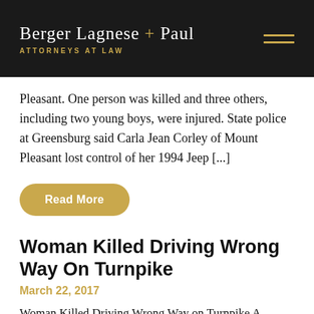Berger Lagnese + Paul | ATTORNEYS AT LAW
Pleasant.  One person was killed and three others, including two young boys, were injured. State police at Greensburg said Carla Jean Corley of Mount Pleasant lost control of her 1994 Jeep [...]
Read More
Woman Killed Driving Wrong Way On Turnpike
March 22, 2017
Woman Killed Driving Wrong Way on Turnpike A Monroeville mother who was killed after driving the